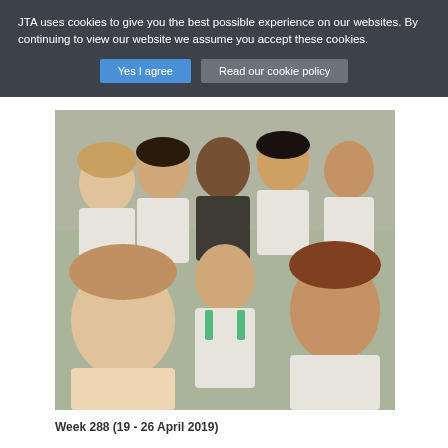JTA uses cookies to give you the best possible experience on our websites. By continuing to view our website we assume you accept these cookies.
Yes I agree
Read our cookie policy
[Figure (photo): Group selfie of young women in white and green soccer/football uniforms smiling at the camera outdoors on a sports field.]
Week 288 (19 - 26 April 2019)